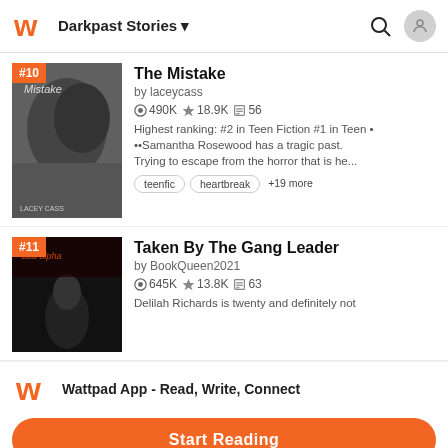Darkpast Stories
The Mistake
by laceycass
490K 18.9K 56
Highest ranking: #2 in Teen Fiction #1 in Teen • ••Samantha Rosewood has a tragic past. Trying to escape from the horror that is he...
teenfic
heartbreak
+19 more
Taken By The Gang Leader
by BookQueen2021
645K 13.8K 63
Delilah Richards is twenty and definitely not
Wattpad App - Read, Write, Connect
Start Reading
Log in with Browser